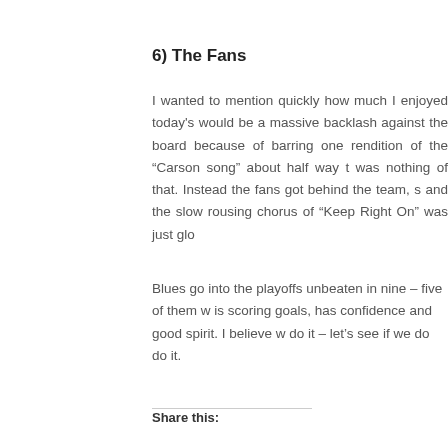6) The Fans
I wanted to mention quickly how much I enjoyed today's would be a massive backlash against the board because of barring one rendition of the “Carson song” about half way t was nothing of that. Instead the fans got behind the team, s and the slow rousing chorus of “Keep Right On” was just glo
Blues go into the playoffs unbeaten in nine – five of them w is scoring goals, has confidence and good spirit. I believe w do it – let’s see if we do do it.
Share this:
Twitter
Facebook
Tags: Adam Rooney, Andros Townsend, Colin Doyle, Curtis